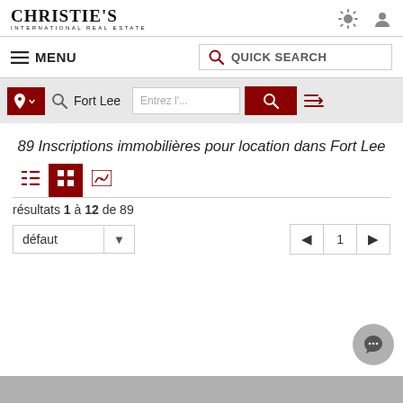[Figure (logo): Christie's International Real Estate logo]
[Figure (screenshot): Navigation menu with MENU label and hamburger icon, QUICK SEARCH bar with red magnifying glass icon]
[Figure (screenshot): Filter bar with location pin button, magnifying glass, Fort Lee text, address input placeholder, red search button, and sort icon]
89 Inscriptions immobilières pour location dans Fort Lee
[Figure (screenshot): View toggle buttons: list, grid (active/selected), map]
résultats 1 à 12 de 89
[Figure (screenshot): Sort dropdown showing 'défaut' with arrow, and pagination showing page 1 with previous and next arrows]